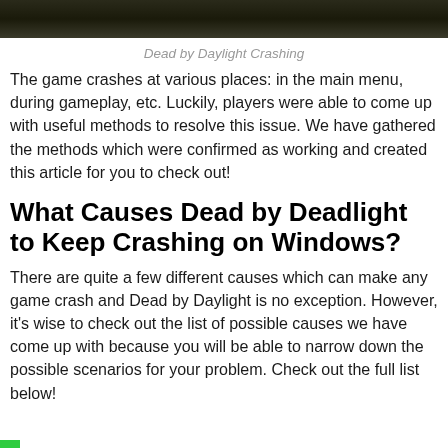[Figure (photo): Dark banner image showing Dead by Daylight game screenshot at top of page]
Dead by Daylight Crashing
The game crashes at various places: in the main menu, during gameplay, etc. Luckily, players were able to come up with useful methods to resolve this issue. We have gathered the methods which were confirmed as working and created this article for you to check out!
What Causes Dead by Deadlight to Keep Crashing on Windows?
There are quite a few different causes which can make any game crash and Dead by Daylight is no exception. However, it's wise to check out the list of possible causes we have come up with because you will be able to narrow down the possible scenarios for your problem. Check out the full list below!